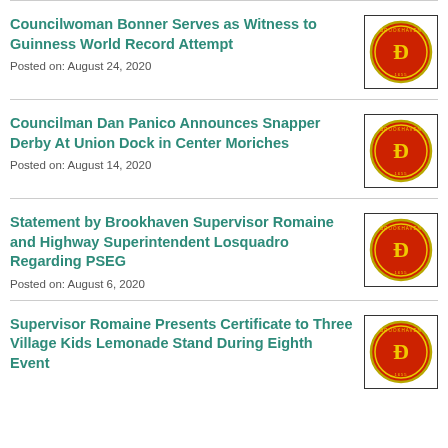Councilwoman Bonner Serves as Witness to Guinness World Record Attempt
Posted on: August 24, 2020
Councilman Dan Panico Announces Snapper Derby At Union Dock in Center Moriches
Posted on: August 14, 2020
Statement by Brookhaven Supervisor Romaine and Highway Superintendent Losquadro Regarding PSEG
Posted on: August 6, 2020
Supervisor Romaine Presents Certificate to Three Village Kids Lemonade Stand During Eighth Event